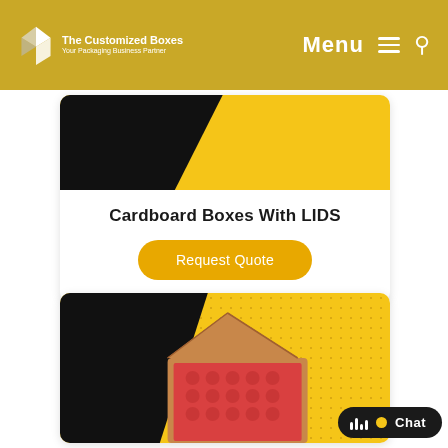The Customized Boxes — Your Packaging Business Partner | Menu | Search
[Figure (illustration): Product card with black and yellow background, showing Cardboard Boxes With LIDS label and a Request Quote button]
Cardboard Boxes With LIDS
Request Quote
[Figure (photo): Product card showing an open corrugated cardboard box with red bubble wrap interior on a yellow dot-patterned background with black left side]